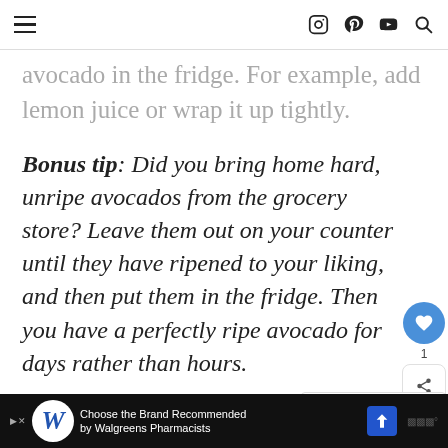[ hamburger menu ] [ instagram ] [ pinterest ] [ youtube ] [ search ]
avocado in the fridge. For example, add lemon juice or wrap it up tightly.
Bonus tip: Did you bring home hard, unripe avocados from the grocery store? Leave them out on your counter until they have ripened to your liking, and then put them in the fridge. Then you have a perfectly ripe avocado for days rather than hours.
[Figure (other): What's Next callout with avocado thumbnail: Do Avocados Last Longer ...]
[Figure (other): Alzheimer's association advertisement banner: It's time to talk about Alzheimer's. LEARN MORE]
[Figure (other): Bottom ad bar: Choose the Brand Recommended by Walgreens Pharmacists, Walgreens logo]